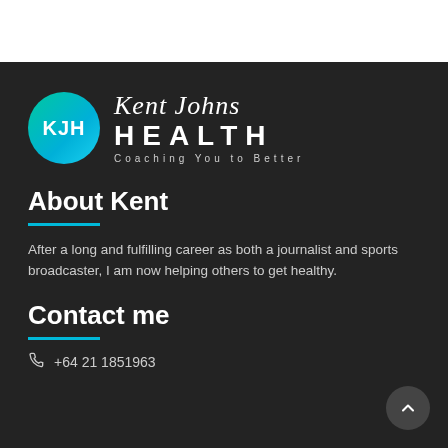[Figure (logo): Kent Johns Health logo: teal/cyan gradient circle with KJH initials, beside italic script 'Kent Johns' and bold uppercase 'HEALTH', tagline 'Coaching You to Better']
About Kent
After a long and fulfilling career as both a journalist and sports broadcaster, I am now helping others to get healthy.
Contact me
+64 21 1851963